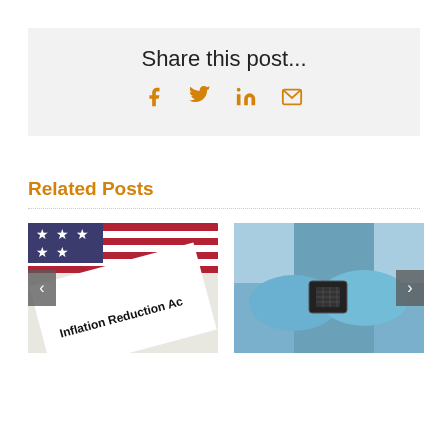Share this post...
[Figure (illustration): Social sharing icons: Facebook, Twitter, LinkedIn, Email — all in orange/amber color]
Related Posts
[Figure (photo): Photo of a US flag alongside a document reading 'Inflation Reduction Ac...' with a left navigation arrow overlay]
[Figure (photo): Photo of gloved hands holding a microchip/semiconductor in a cleanroom setting, with a right navigation arrow overlay]